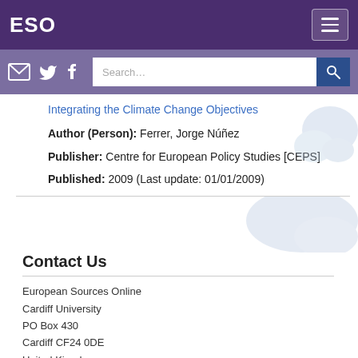ESO
Integrating the Climate Change Objectives
Author (Person): Ferrer, Jorge Núñez
Publisher: Centre for European Policy Studies [CEPS]
Published: 2009 (Last update: 01/01/2009)
Contact Us
European Sources Online
Cardiff University
PO Box 430
Cardiff CF24 0DE
United Kingdom
Tel: +44 (0)29 2087 4262
Email: eso@cardiff.ac.uk
[Figure (logo): EU stars logo badge with teal border]